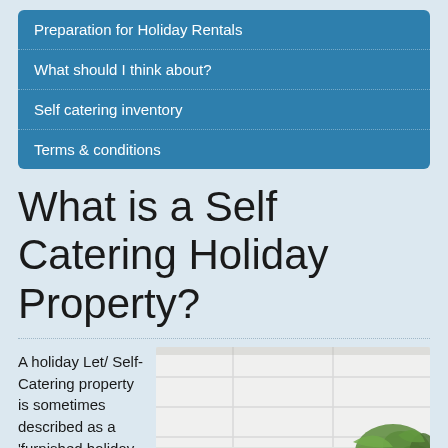Preparation for Holiday Rentals
What should I think about?
Self catering inventory
Terms & conditions
What is a Self Catering Holiday Property?
A holiday Let/ Self-Catering property is sometimes described as a 'furnished holiday
[Figure (photo): Interior room photo showing white ceiling panels and green plant foliage in the corner]